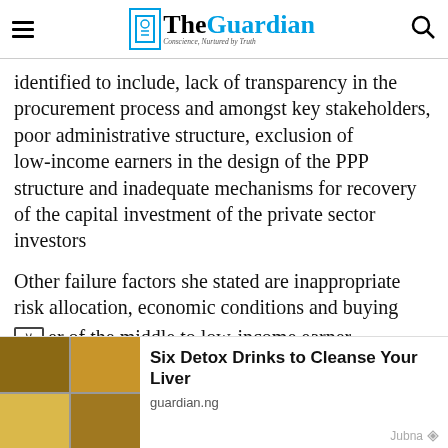The Guardian — Conscience, Nurtured by Truth
identified to include, lack of transparency in the procurement process and amongst key stakeholders, poor administrative structure, exclusion of low-income earners in the design of the PPP structure and inadequate mechanisms for recovery of the capital investment of the private sector investors
Other failure factors she stated are inappropriate risk allocation, economic conditions and buying er of the middle to low-income earner.
[Figure (infographic): Advertisement banner showing food/drink images in a 2x2 grid collage]
Six Detox Drinks to Cleanse Your Liver
guardian.ng
Jubna